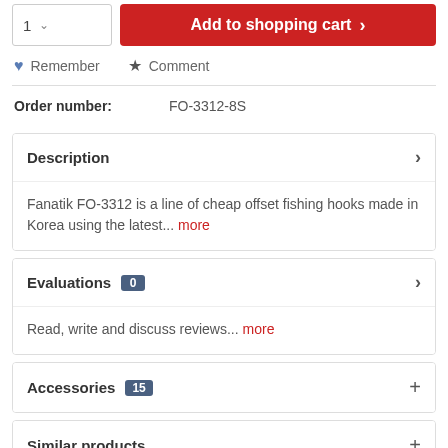1  Add to shopping cart
Remember  Comment
Order number: FO-3312-8S
Description
Fanatik FO-3312 is a line of cheap offset fishing hooks made in Korea using the latest... more
Evaluations  0
Read, write and discuss reviews... more
Accessories  15
Similar products
Customers also bought